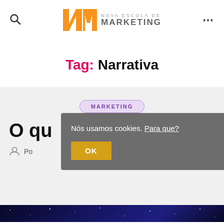NMKT NOVA ESCOLA DE MARKETING
Tag: Narrativa
MARKETING
O que é storytelling?
Po...
Nós usamos cookies. Para que?
OK